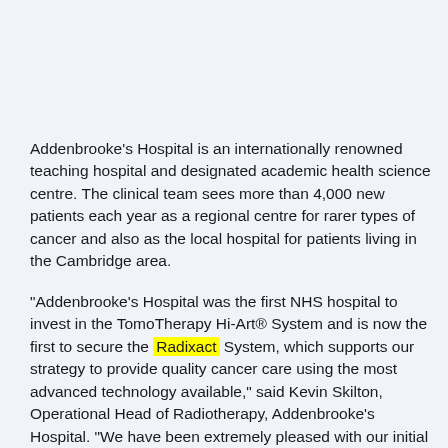Addenbrooke's Hospital is an internationally renowned teaching hospital and designated academic health science centre. The clinical team sees more than 4,000 new patients each year as a regional centre for rarer types of cancer and also as the local hospital for patients living in the Cambridge area.
"Addenbrooke's Hospital was the first NHS hospital to invest in the TomoTherapy Hi-Art® System and is now the first to secure the Radixact System, which supports our strategy to provide quality cancer care using the most advanced technology available," said Kevin Skilton, Operational Head of Radiotherapy, Addenbrooke's Hospital. "We have been extremely pleased with our initial experience using the Radixact System and we look forward to exploring the opportunities the Radixact System may offer us in the treatment of our patients."
Radixact System Benefits
The Radixact System, the next generation TomoTherapy